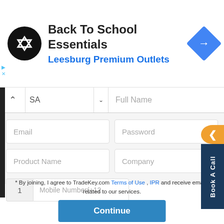[Figure (screenshot): Ad banner for Back To School Essentials at Leesburg Premium Outlets with logo and navigation arrow icon]
[Figure (screenshot): Registration form with fields: country selector (SA), Full Name, Email, Password, Product Name, Company, phone country code (1) and Mobile Number (+12...)]
* By joining, I agree to TradeKey.com Terms of Use , IPR and receive emails related to our services.
[Figure (screenshot): Continue button in blue]